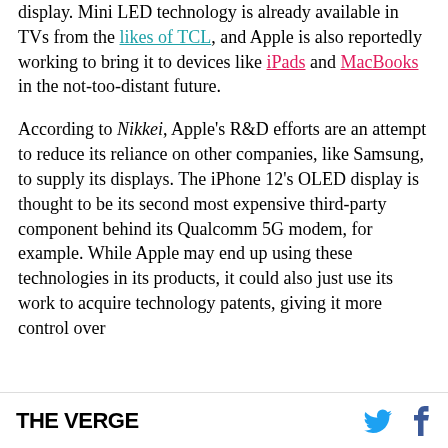display. Mini LED technology is already available in TVs from the likes of TCL, and Apple is also reportedly working to bring it to devices like iPads and MacBooks in the not-too-distant future.
According to Nikkei, Apple's R&D efforts are an attempt to reduce its reliance on other companies, like Samsung, to supply its displays. The iPhone 12's OLED display is thought to be its second most expensive third-party component behind its Qualcomm 5G modem, for example. While Apple may end up using these technologies in its products, it could also just use its work to acquire technology patents, giving it more control over
THE VERGE